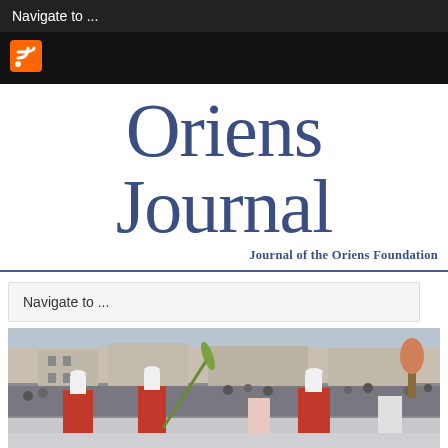Navigate to ...
[Figure (logo): RSS feed icon - orange square with RSS symbol]
Oriens Journal
Journal of the Oriens Foundation
Navigate to ...
[Figure (photo): Outdoor Catholic religious procession at what appears to be St. Peter's Square, Vatican. Several Catholic bishops or cardinals in red vestments and white mitres walking in procession, one holding a palm branch. Large crowd visible in background with classical architecture.]